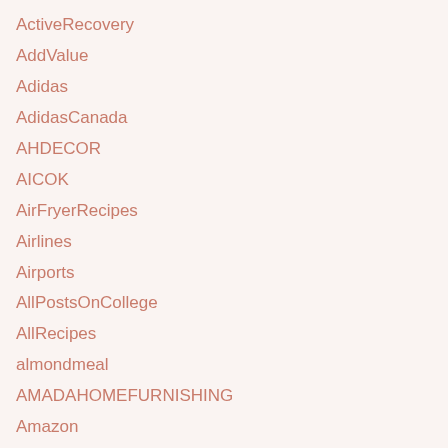ActiveRecovery
AddValue
Adidas
AdidasCanada
AHDECOR
AICOK
AirFryerRecipes
Airlines
Airports
AllPostsOnCollege
AllRecipes
almondmeal
AMADAHOMEFURNISHING
Amazon
AmazonBasics